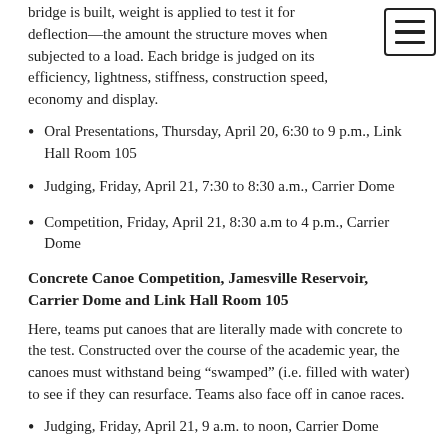bridge is built, weight is applied to test it for deflection—the amount the structure moves when subjected to a load. Each bridge is judged on its efficiency, lightness, stiffness, construction speed, economy and display.
Oral Presentations, Thursday, April 20, 6:30 to 9 p.m., Link Hall Room 105
Judging, Friday, April 21, 7:30 to 8:30 a.m., Carrier Dome
Competition, Friday, April 21, 8:30 a.m to 4 p.m., Carrier Dome
Concrete Canoe Competition, Jamesville Reservoir, Carrier Dome and Link Hall Room 105
Here, teams put canoes that are literally made with concrete to the test. Constructed over the course of the academic year, the canoes must withstand being “swamped” (i.e. filled with water) to see if they can resurface. Teams also face off in canoe races.
Judging, Friday, April 21, 9 a.m. to noon, Carrier Dome
Oral Presentations, Friday, April 21, 3 to 5 p.m., Link Hall Room 105
Swamp Test, Saturday, April 22, 6 to 8 a.m., Jamesville Reservoir
Races, Saturday, April 22, 8 a.m. to 4 p.m., Jamesville Reservoir
Mead Paper Presentation Competition, Link Hall Room 105